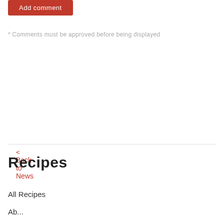Add comment
* Comments must be approved before being displayed
< Back to News
Recipes
All Recipes
Ab...